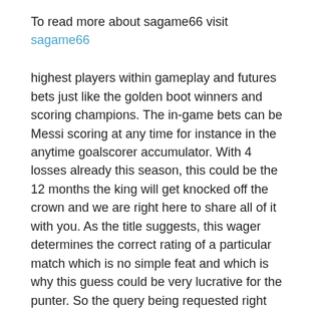To read more about sagame66 visit sagame66
highest players within gameplay and futures bets just like the golden boot winners and scoring champions. The in-game bets can be Messi scoring at any time for instance in the anytime goalscorer accumulator. With 4 losses already this season, this could be the 12 months the king will get knocked off the crown and we are right here to share all of it with you. As the title suggests, this wager determines the correct rating of a particular match which is no simple feat and which is why this guess could be very lucrative for the punter. So the query being requested right here is will each groups rating and if the answer is sure then the percentages given are 1.fifty nine. Place bets on multiple outcomes and – as the name suggests – the chances accumulate with each right end result.
The Handicap signifies how much shall be added to the score of each team at the finish of the game. Nothing is extra thrilling than betting on Barcelona, Real Madrid, El Classico, Lionel Messi, and the opposite stars of the Spanish league La Liga. Would you want futures to guess on how many targets Messi will rating in a season or who will win the Balon?.